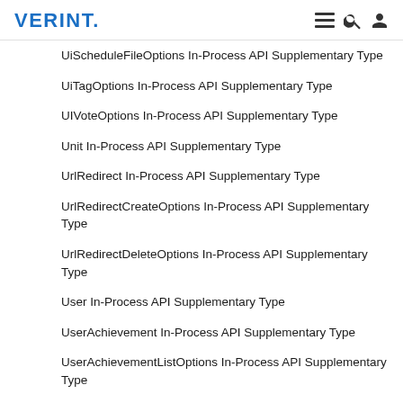VERINT.
UiScheduleFileOptions In-Process API Supplementary Type
UiTagOptions In-Process API Supplementary Type
UIVoteOptions In-Process API Supplementary Type
Unit In-Process API Supplementary Type
UrlRedirect In-Process API Supplementary Type
UrlRedirectCreateOptions In-Process API Supplementary Type
UrlRedirectDeleteOptions In-Process API Supplementary Type
User In-Process API Supplementary Type
UserAchievement In-Process API Supplementary Type
UserAchievementListOptions In-Process API Supplementary Type
UserAvatarsUpdateOptions In-Process API Supplementary Type
UserCoverPhotosUpdateOptions In-Process API Supplementary Type
UserFile In-Process API Supplementary Type
UserFileDeleteOptions In-Process API Supplementary Type
UserFileListOptions In-Process API Supplementary Type